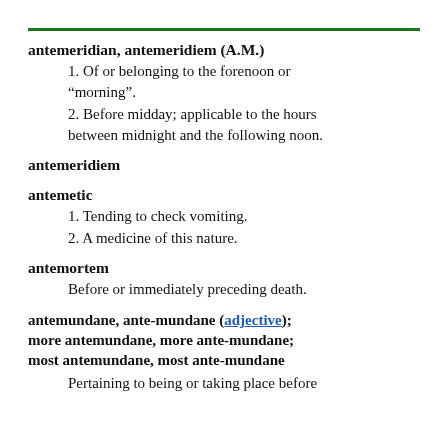antemeridian, antemeridiem (A.M.)
1. Of or belonging to the forenoon or "morning".
2. Before midday; applicable to the hours between midnight and the following noon.
antemeridiem
antemetic
1. Tending to check vomiting.
2. A medicine of this nature.
antemortem
Before or immediately preceding death.
antemundane, ante-mundane (adjective); more antemundane, more ante-mundane; most antemundane, most ante-mundane
Pertaining to being or taking place before...